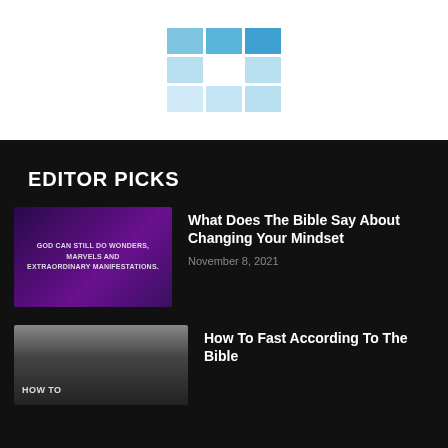[Figure (logo): 3x3 grid logo with blue and light blue squares, white center]
EDITOR PICKS
[Figure (photo): Purple image with white text: GOD CAN STILL DO WONDERS, MARVELS AND EXTRAORDINARY MANIFESTATIONS]
What Does The Bible Say About Changing Your Mindset
November 8, 2021
[Figure (photo): Dark image with HOW TO text]
How To Fast According To The Bible